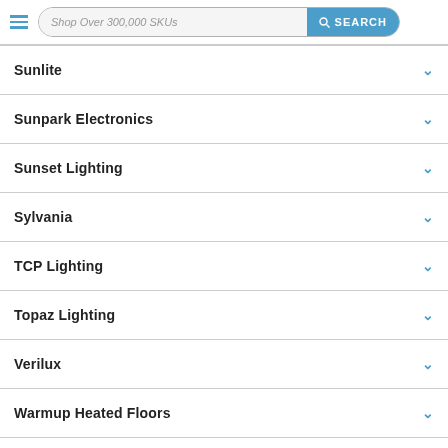Shop Over 300,000 SKUs  SEARCH
Sunlite
Sunpark Electronics
Sunset Lighting
Sylvania
TCP Lighting
Topaz Lighting
Verilux
Warmup Heated Floors